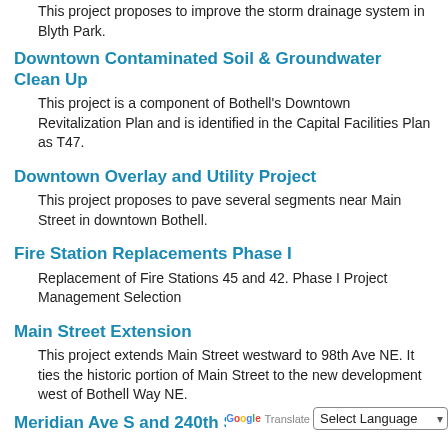This project proposes to improve the storm drainage system in Blyth Park.
Downtown Contaminated Soil & Groundwater Clean Up
This project is a component of Bothell's Downtown Revitalization Plan and is identified in the Capital Facilities Plan as T47.
Downtown Overlay and Utility Project
This project proposes to pave several segments near Main Street in downtown Bothell.
Fire Station Replacements Phase I
Replacement of Fire Stations 45 and 42. Phase I Project Management Selection
Main Street Extension
This project extends Main Street westward to 98th Ave NE. It ties the historic portion of Main Street to the new development west of Bothell Way NE.
Meridian Ave S and 240th St SE Roundabout